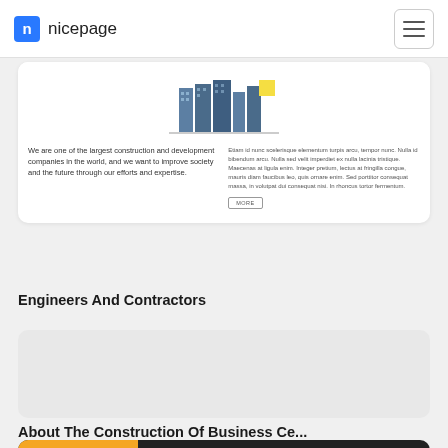nicepage
[Figure (screenshot): Engineers And Contractors website template card with building illustration and text columns showing 'We are one of the largest construction and development companies in the world, and we want to improve society and the future through our efforts and expertise.' with a MORE button]
Engineers And Contractors
[Figure (screenshot): About The Construction Of Business Ce... website template card - blank grey preview]
About The Construction Of Business Ce...
[Figure (screenshot): Partially visible dark website template card with orange section]